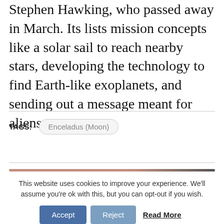Stephen Hawking, who passed away in March. Its lists mission concepts like a solar sail to reach nearby stars, developing the technology to find Earth-like exoplanets, and sending out a message meant for aliens.
TAGS: Enceladus (Moon)
This website uses cookies to improve your experience. We'll assume you're ok with this, but you can opt-out if you wish.